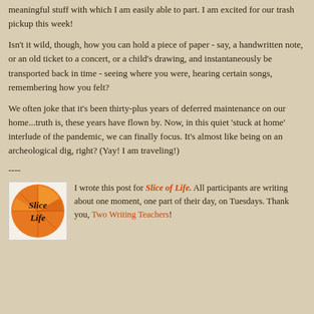meaningful stuff with which I am easily able to part. I am excited for our trash pickup this week!
Isn't it wild, though, how you can hold a piece of paper - say, a handwritten note, or an old ticket to a concert, or a child's drawing, and instantaneously be transported back in time - seeing where you were, hearing certain songs, remembering how you felt?
We often joke that it's been thirty-plus years of deferred maintenance on our home...truth is, these years have flown by. Now, in this quiet 'stuck at home' interlude of the pandemic, we can finally focus. It's almost like being on an archeological dig, right? (Yay! I am traveling!)
----
[Figure (logo): Slice of Life orange logo with text Slice Life on an orange circular badge]
I wrote this post for Slice of Life. All participants are writing about one moment, one part of their day, on Tuesdays. Thank you, Two Writing Teachers!